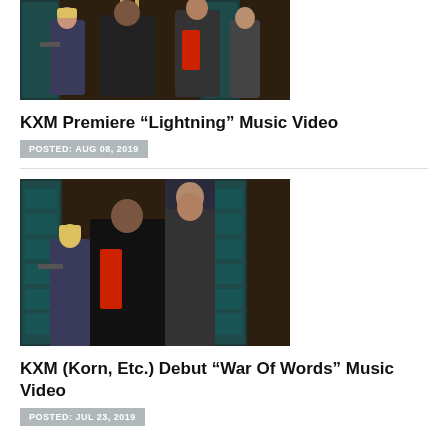[Figure (photo): Band photo of KXM - three/four members in dark clothing against decorative background]
KXM Premiere “Lightning” Music Video
POSTED: AUG 08, 2019
[Figure (photo): Band photo of KXM - members in dark clothing against decorative background]
KXM (Korn, Etc.) Debut “War Of Words” Music Video
POSTED: JUL 23, 2019